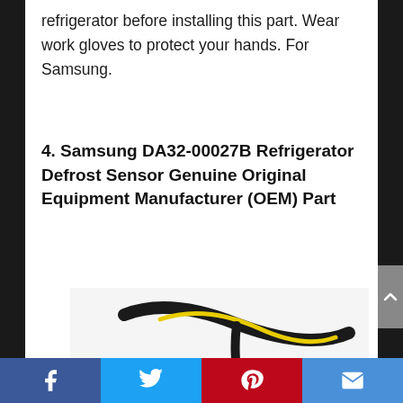refrigerator before installing this part. Wear work gloves to protect your hands. For Samsung.
4. Samsung DA32-00027B Refrigerator Defrost Sensor Genuine Original Equipment Manufacturer (OEM) Part
[Figure (photo): Product photo of Samsung DA32-00027B Refrigerator Defrost Sensor, showing a black wire/cable with yellow marking and a connector clip]
Facebook | Twitter | Pinterest | Email social share buttons